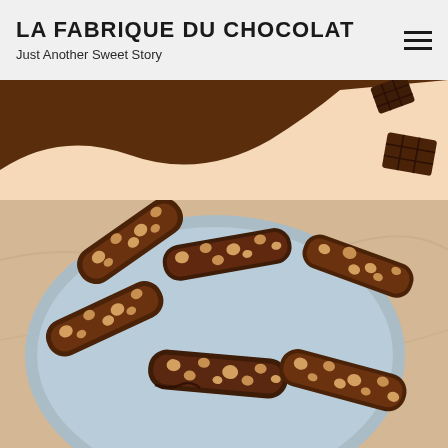LA FABRIQUE DU CHOCOLAT
Just Another Sweet Story
[Figure (illustration): Decorative wave banner with dark chocolate brown wave shape on left and peach/cream background on right, with chocolate piece illustrations in upper right corner]
[Figure (photo): Overhead photo of chocolate hazelnut biscotti cookies arranged on a light blue ceramic plate, placed on a beige/cream surface. The biscotti are dark brown with visible whole hazelnuts throughout.]